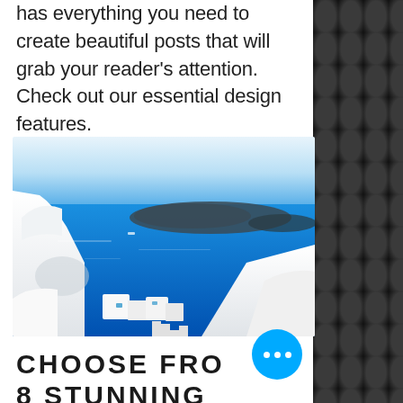has everything you need to create beautiful posts that will grab your reader's attention. Check out our essential design features.
[Figure (photo): Aerial view of Santorini-style white architecture with blue sea and island in background, bright daylight, very blue water]
CHOOSE FROM 8 STUNNING